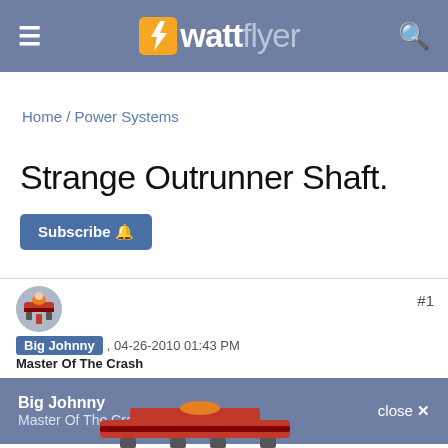wattflyer
Home / Power Systems
Strange Outrunner Shaft.
Subscribe
Big Johnny , 04-26-2010 01:43 PM
Master Of The Crash
#1
Big Johnny
Master Of The Crash
close ✕
[Figure (illustration): Cartoon avatar image of a crashed biplane with a figure on top, used as user profile picture]